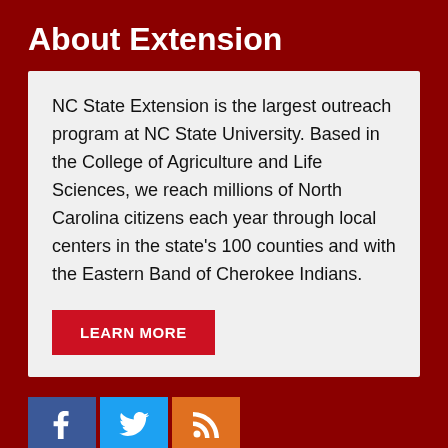About Extension
NC State Extension is the largest outreach program at NC State University. Based in the College of Agriculture and Life Sciences, we reach millions of North Carolina citizens each year through local centers in the state's 100 counties and with the Eastern Band of Cherokee Indians.
LEARN MORE
[Figure (infographic): Social media icons: Facebook (blue), Twitter (blue), RSS feed (orange)]
Let's Stay In Touch
We have several topic based email newsletters that